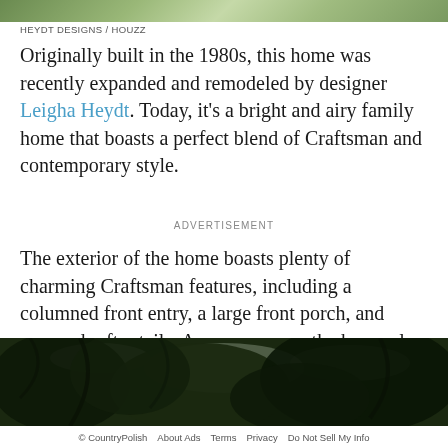[Figure (photo): Top strip of a home exterior photo showing green lawn and landscape]
HEYDT DESIGNS / HOUZZ
Originally built in the 1980s, this home was recently expanded and remodeled by designer Leigha Heydt. Today, it's a bright and airy family home that boasts a perfect blend of Craftsman and contemporary style.
ADVERTISEMENT
The exterior of the home boasts plenty of charming Craftsman features, including a columned front entry, a large front porch, and exposed rafter tails. As you can see, the home also has plenty of windows that fill every room with natural light!
[Figure (photo): Bottom strip photo showing tree foliage against bright sky]
© CountryPolish   About Ads   Terms   Privacy   Do Not Sell My Info